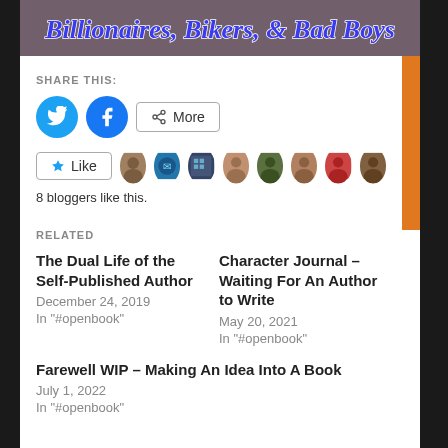[Figure (illustration): Book cover image top strip with stylized cursive text 'Billionaires, Bikers, & Bad Boys' on dark background]
SHARE THIS:
[Figure (infographic): Share buttons: Twitter (blue circle), Facebook (blue circle), More button with share icon. Below: Like button with star, followed by 8 blogger avatars.]
8 bloggers like this.
RELATED
The Dual Life of the Self-Published Author
December 24, 2019
In "#openbook"
Character Journal – Waiting For An Author to Write
May 20, 2021
In "#openbook"
Farewell WIP – Making An Idea Into A Book
July 1, 2022
In "#openbook"